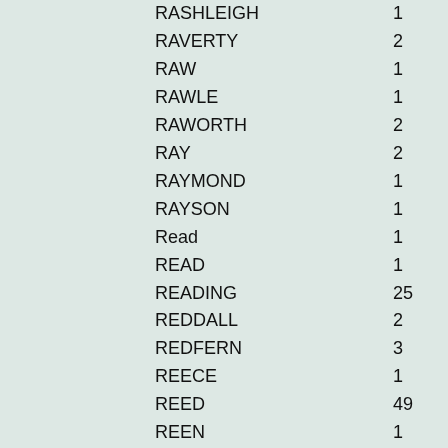| Name | Count |
| --- | --- |
| RASHLEIGH | 1 |
| RAVERTY | 2 |
| RAW | 1 |
| RAWLE | 1 |
| RAWORTH | 2 |
| RAY | 2 |
| RAYMOND | 1 |
| RAYSON | 1 |
| Read | 1 |
| READ | 1 |
| READING | 25 |
| REDDALL | 2 |
| REDFERN | 3 |
| REECE | 1 |
| REED | 49 |
| REEN | 1 |
| REES | 3 |
| REESOR | 1 |
| REEVES | 5 |
| REEVES (LIVING, FEMALE) | 1 |
| REFSETH | 1 |
| REGAN | 1 |
| REGINALD | 1 |